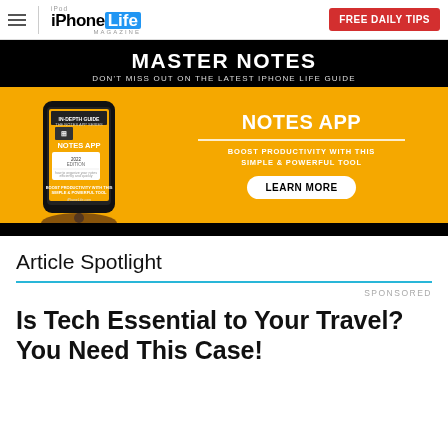iPhone Life Magazine | FREE DAILY TIPS
[Figure (infographic): Advertisement banner for iPhone Life Magazine Notes App guide. Black top section with 'MASTER NOTES' headline and subtitle 'DON'T MISS OUT ON THE LATEST IPHONE LIFE GUIDE'. Orange bottom section shows a phone with Notes App cover on left, and on right: 'NOTES APP', 'BOOST PRODUCTIVITY WITH THIS SIMPLE & POWERFUL TOOL', 'LEARN MORE' button.]
Article Spotlight
SPONSORED
Is Tech Essential to Your Travel? You Need This Case!